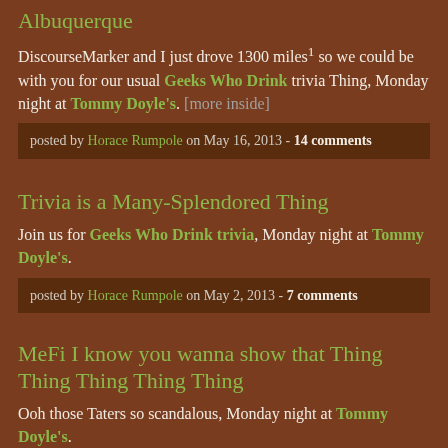Albuquerque
DiscourseMarker and I just drove 1300 miles¹ so we could be with you for our usual Geeks Who Drink trivia Thing, Monday night at Tommy Doyle's. [more inside]
posted by Horace Rumpole on May 16, 2013 - 14 comments
Trivia is a Many-Splendored Thing
Join us for Geeks Who Drink trivia, Monday night at Tommy Doyle's.
posted by Horace Rumpole on May 2, 2013 - 7 comments
MeFi I know you wanna show that Thing Thing Thing Thing Thing
Ooh those Taters so scandalous, Monday night at Tommy Doyle's.